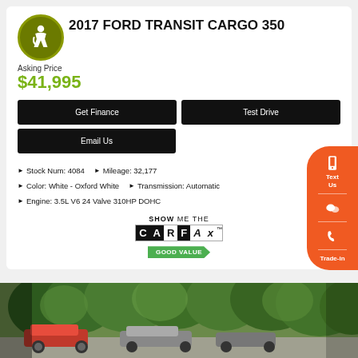2017 FORD TRANSIT CARGO 350
Asking Price
$41,995
Get Finance
Test Drive
Email Us
Stock Num: 4084   Mileage: 32,177
Color: White - Oxford White   Transmission: Automatic
Engine: 3.5L V6 24 Valve 310HP DOHC
[Figure (logo): SHOW ME THE CARFAX logo with GOOD VALUE badge]
[Figure (photo): Outdoor parking lot with cars and trees in background]